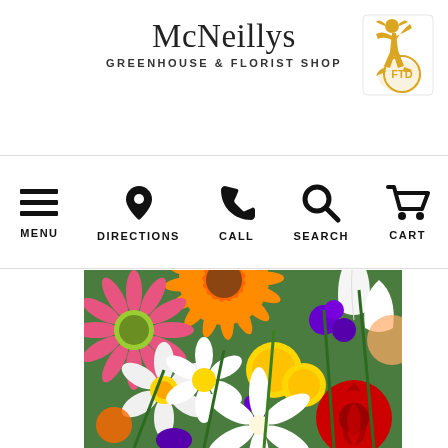McNeillys GREENHOUSE & FLORIST SHOP
[Figure (logo): FTD Mercury Man logo in yellow/gold with FTD text in circle]
MENU
DIRECTIONS
CALL
SEARCH
CART
[Figure (photo): Close-up photo of colorful mixed flower bouquet including pink daisies, orange gerberas, white narcissus, yellow button flowers, white lilies, red roses, and purple flowers]